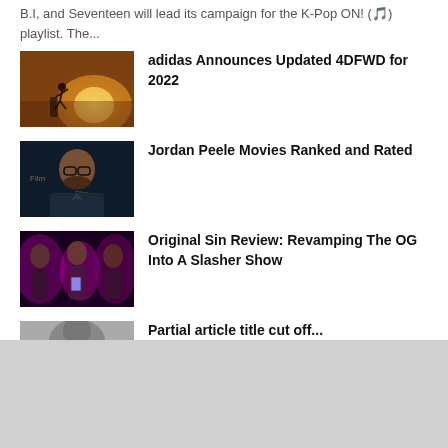B.I, and Seventeen will lead its campaign for the K-Pop ON! (🎵) playlist. The...
[Figure (photo): Runner on a track at sunset, adidas article thumbnail]
adidas Announces Updated 4DFWD for 2022
[Figure (photo): Jordan Peele at a film festival event wearing glasses]
Jordan Peele Movies Ranked and Rated
[Figure (photo): Three young women lit by purple/pink light looking at phones]
Original Sin Review: Revamping The OG Into A Slasher Show
[Figure (photo): Partially visible article thumbnail]
Partial article title cut off at bottom